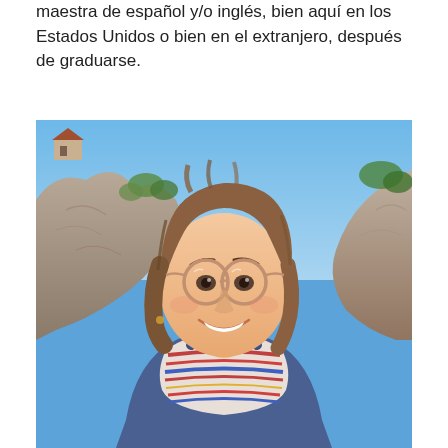maestra de español y/o inglés, bien aquí en los Estados Unidos o bien en el extranjero, después de graduarse.
[Figure (photo): A smiling young woman with round glasses and loose brown hair wearing a striped shirt and denim overalls, photographed as a selfie outdoors with rocky cliffs and blue sky in the background, and a small building visible on the cliff top.]